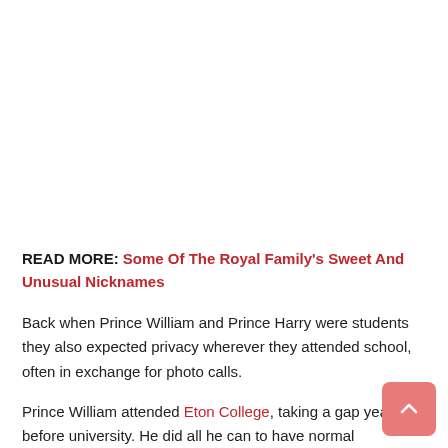READ MORE: Some Of The Royal Family's Sweet And Unusual Nicknames
Back when Prince William and Prince Harry were students they also expected privacy wherever they attended school, often in exchange for photo calls.
Prince William attended Eton College, taking a gap year before university. He did all he can to have normal experiences, not shying